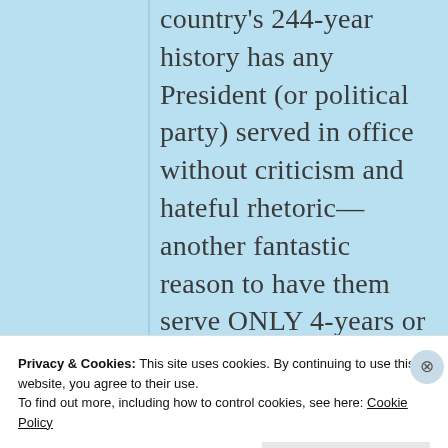country's 244-year history has any President (or political party) served in office without criticism and hateful rhetoric—another fantastic reason to have them serve ONLY 4-years or at the most 8-years.
Privacy & Cookies: This site uses cookies. By continuing to use this website, you agree to their use.
To find out more, including how to control cookies, see here: Cookie Policy